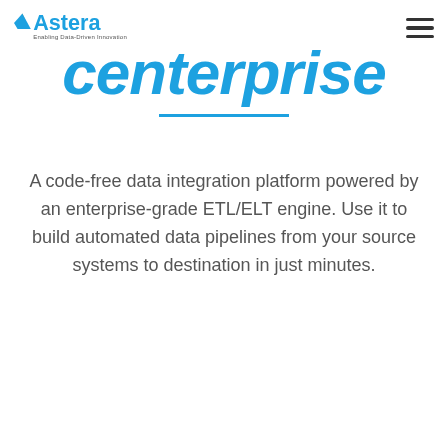Astera — Enabling Data-Driven Innovation
centerprise
A code-free data integration platform powered by an enterprise-grade ETL/ELT engine. Use it to build automated data pipelines from your source systems to destination in just minutes.